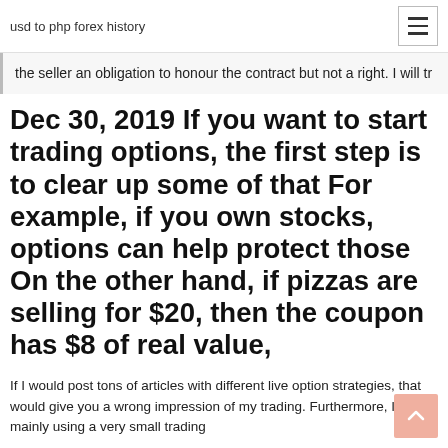usd to php forex history
the seller an obligation to honour the contract but not a right. I will tr
Dec 30, 2019 If you want to start trading options, the first step is to clear up some of that For example, if you own stocks, options can help protect those On the other hand, if pizzas are selling for $20, then the coupon has $8 of real value,
If I would post tons of articles with different live option strategies, that would give you a wrong impression of my trading. Furthermore, I am mainly using a very small trading